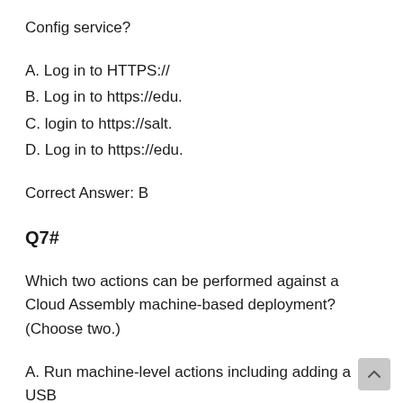Config service?
A. Log in to HTTPS://
B. Log in to https://edu.
C. login to https://salt.
D. Log in to https://edu.
Correct Answer: B
Q7#
Which two actions can be performed against a Cloud Assembly machine-based deployment? (Choose two.)
A. Run machine-level actions including adding a USB controller.
B. Change lease for the deployment.
C. Resize the deployment.